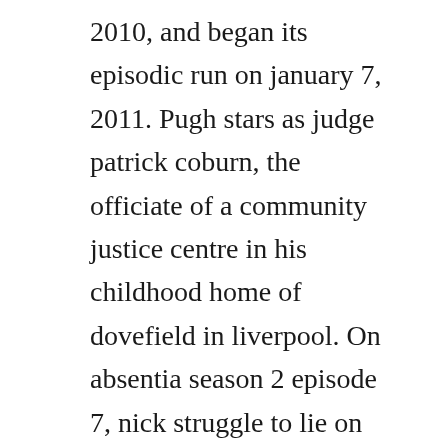2010, and began its episodic run on january 7, 2011. Pugh stars as judge patrick coburn, the officiate of a community justice centre in his childhood home of dovefield in liverpool. On absentia season 2 episode 7, nick struggle to lie on camera, alice makes a bold move, and emily and cals hunt for wolfe finds them in rural moldova.
How much harder will it be to prove yourself in a world of super pow. Kid flash real name wallace rudolph wally west, november 11, 1994june 20, 2016 was a founding member of